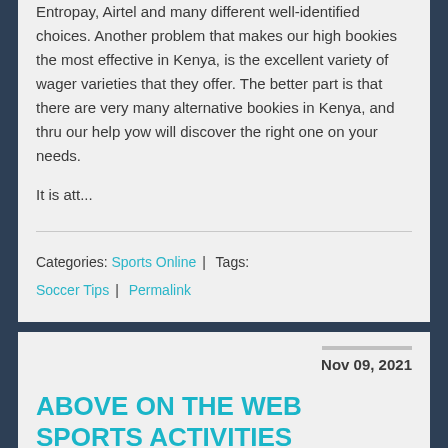Entropay, Airtel and many different well-identified choices. Another problem that makes our high bookies the most effective in Kenya, is the excellent variety of wager varieties that they offer. The better part is that there are very many alternative bookies in Kenya, and thru our help yow will discover the right one on your needs.
It is att...
Categories: Sports Online | Tags: Soccer Tips | Permalink
Nov 09, 2021
ABOVE ON THE WEB SPORTS ACTIVITIES